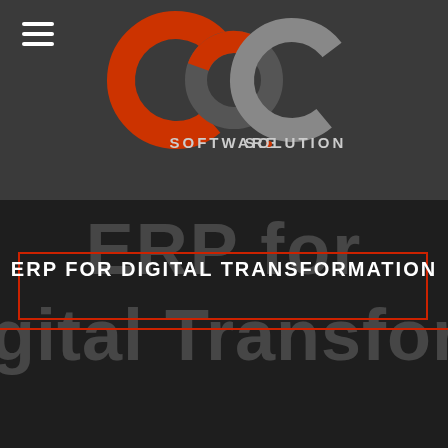[Figure (logo): OCC Software Solutions logo — stylized 'occ' letters in orange and gray with 'SOFTWARE • SOLUTIONS' text below]
ERP FOR DIGITAL TRANSFORMATION